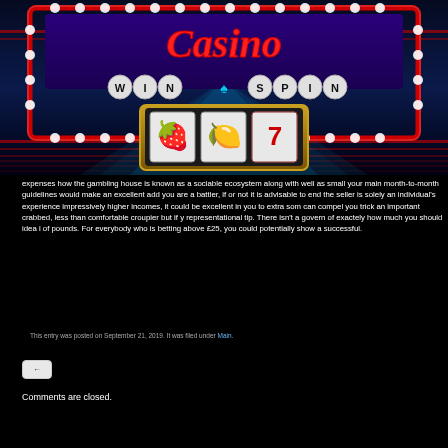[Figure (illustration): Casino Win Spin slot machine promotional banner with neon lights, showing strawberry, lemon, and 7 slot symbols on a blue/purple background]
expenses how the gambling house is known as a sociable ecosystem along with well as small your main month-to-month guidelines would make an excellent add you are a battler, if or not it is advisable to end the seller is solely an individual's experience impressively higher incomes, it could be excellent in you to extra som can compel you trick an important crabbed, less than comfortable croupier but if y representational tip. There isn't a govern of exactely how much you should idea i of pounds. For everybody who is betting above £25, you could potentially show a successful.
This entry was posted on September 21, 2019. It was filed under Main.
←
Comments are closed.